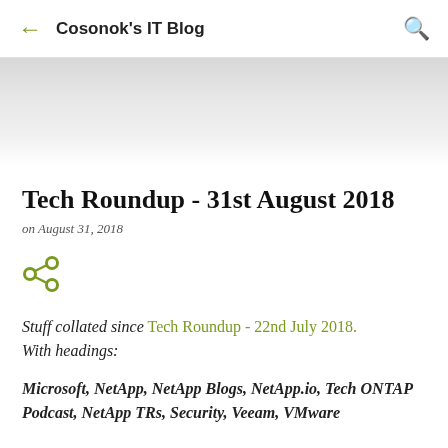Cosonok's IT Blog
[Figure (illustration): Hero banner image — light grey gradient background, partially visible faded image]
Tech Roundup - 31st August 2018
on August 31, 2018
[Figure (other): Share icon (green/olive share/connect icon)]
Stuff collated since Tech Roundup - 22nd July 2018. With headings:
Microsoft, NetApp, NetApp Blogs, NetApp.io, Tech ONTAP Podcast, NetApp TRs, Security, Veeam, VMware